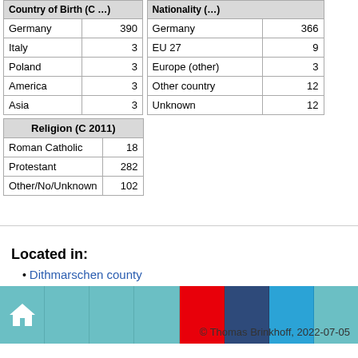| Country of Birth (C ...) |  |
| --- | --- |
| Germany | 390 |
| Italy | 3 |
| Poland | 3 |
| America | 3 |
| Asia | 3 |
| Nationality (...) |  |
| --- | --- |
| Germany | 366 |
| EU 27 | 9 |
| Europe (other) | 3 |
| Other country | 12 |
| Unknown | 12 |
| Religion (C 2011) |  |
| --- | --- |
| Roman Catholic | 18 |
| Protestant | 282 |
| Other/No/Unknown | 102 |
Located in:
Dithmarschen county
[Figure (infographic): Navigation bar with home icon, teal cells, red cell, dark blue cell, light blue cell]
© Thomas Brinkhoff, 2022-07-05